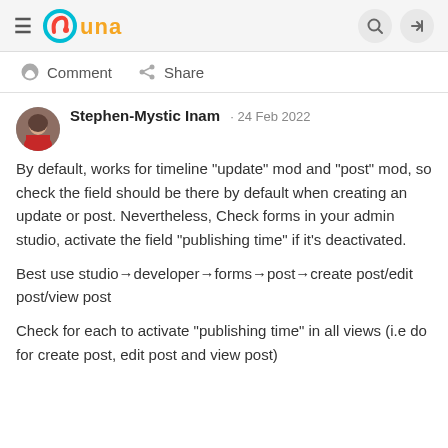UNA navigation bar with hamburger menu, UNA logo, search and login icons
Comment   Share
Stephen-Mystic Inam · 24 Feb 2022
By default, works for timeline "update" mod and "post" mod, so check the field should be there by default when creating an update or post. Nevertheless, Check forms in your admin studio, activate the field "publishing time" if it's deactivated.

Best use studio→developer→forms→post→create post/edit post/view post

Check for each to activate "publishing time" in all views (i.e do for create post, edit post and view post)